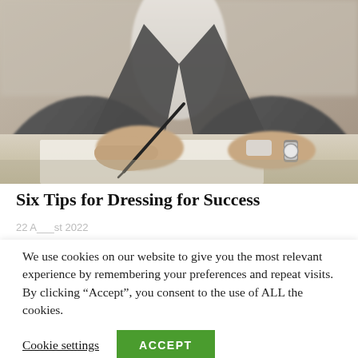[Figure (photo): A person in a dark business suit writing with a pen on paper at a desk, with hands and wrists visible, blurred background.]
Six Tips for Dressing for Success
We use cookies on our website to give you the most relevant experience by remembering your preferences and repeat visits. By clicking “Accept”, you consent to the use of ALL the cookies.
Cookie settings   ACCEPT